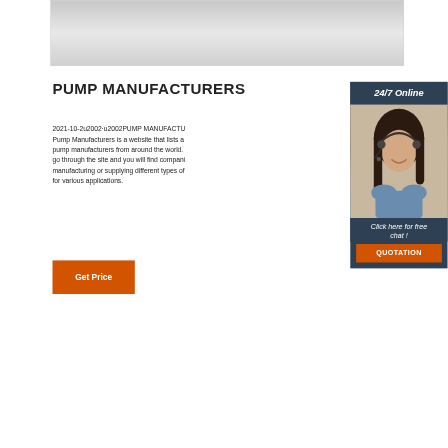[Figure (photo): Top image area showing a faded/blurred photo, mostly gray-white background]
PUMP MANUFACTURER
2021-10-2u2002·u2002PUMP MANUFACTURERS Pump Manufacturers is a website that lists all pump manufacturers from around the world. go through the site and you will find companies manufacturing or supplying different types of pumps for various applications.
[Figure (photo): Woman with headset smiling, customer service representative, sidebar widget showing 24/7 Online with Click here for free chat and QUOTATION button]
Get Price